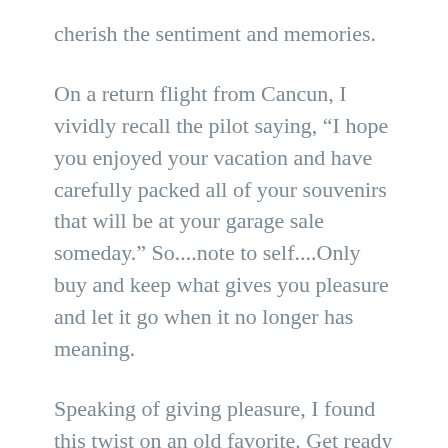cherish the sentiment and memories.
On a return flight from Cancun, I vividly recall the pilot saying, “I hope you enjoyed your vacation and have carefully packed all of your souvenirs that will be at your garage sale someday.” So....note to self....Only buy and keep what gives you pleasure and let it go when it no longer has meaning.
Speaking of giving pleasure, I found this twist on an old favorite. Get ready for this delicious and EASY twist on your favorite